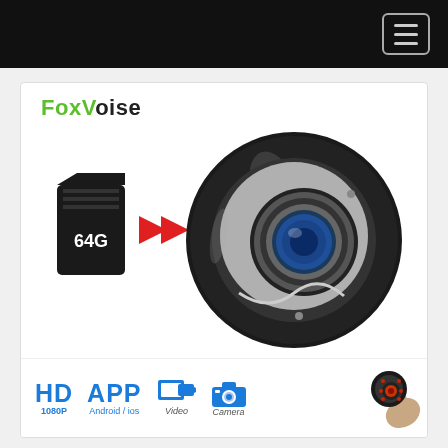[Figure (screenshot): Top navigation bar with black background and hamburger menu icon (three horizontal lines) in top-right corner]
[Figure (photo): Product advertisement for FoxVoise mini spy camera. Shows a round black glossy camera with wide-angle lens, a 64G micro SD card with red arrow pointing to camera, FoxVoise brand logo in green/black, and bottom icons showing HD 1080P, APP Android/iOS, Video, Camera features, plus a small hand holding the mini camera in bottom-right.]